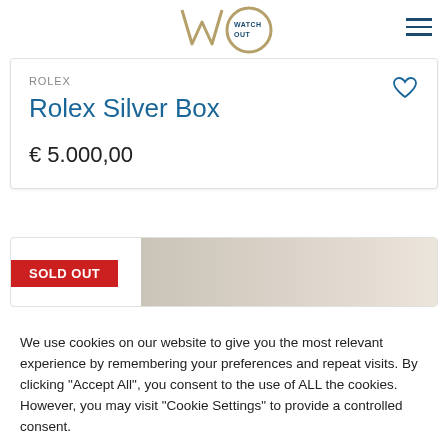WATCH OUT logo
ROLEX
Rolex Silver Box
€ 5.000,00
[Figure (other): Sold out banner with beige/tan product image background]
We use cookies on our website to give you the most relevant experience by remembering your preferences and repeat visits. By clicking "Accept All", you consent to the use of ALL the cookies. However, you may visit "Cookie Settings" to provide a controlled consent.